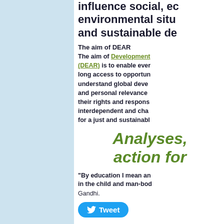influence social, economic, environmental situations and sustainable de...
The aim of DEAR
The aim of Development Education and Awareness Raising (DEAR) is to enable every person life-long access to opportunities to understand global development issues and personal relevance of these issues, their rights and responsibilities in an interdependent and changing world and to act for a just and sustainable world.
Analyses, action for
"By education I mean an all-round drawing out of the best in the child and man-body...
Gandhi.